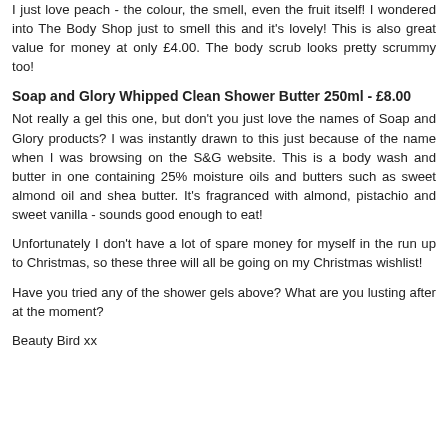I just love peach - the colour, the smell, even the fruit itself! I wondered into The Body Shop just to smell this and it's lovely! This is also great value for money at only £4.00. The body scrub looks pretty scrummy too!
Soap and Glory Whipped Clean Shower Butter 250ml - £8.00
Not really a gel this one, but don't you just love the names of Soap and Glory products? I was instantly drawn to this just because of the name when I was browsing on the S&G website. This is a body wash and butter in one containing 25% moisture oils and butters such as sweet almond oil and shea butter. It's fragranced with almond, pistachio and sweet vanilla - sounds good enough to eat!
Unfortunately I don't have a lot of spare money for myself in the run up to Christmas, so these three will all be going on my Christmas wishlist!
Have you tried any of the shower gels above? What are you lusting after at the moment?
Beauty Bird xx